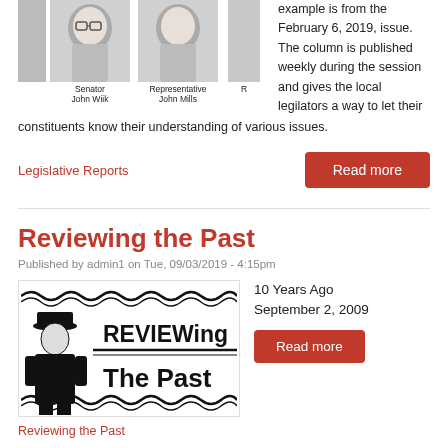[Figure (photo): Photos of Senator John Wiik and Representative John Mills with captions]
example is from the February 6, 2019, issue. The column is published weekly during the session and gives the local legilators a way to let their constituents know their understanding of various issues.
Legislative Reports
[Figure (other): Read more button for Legislative Reports]
Reviewing the Past
Published by admin1 on Tue, 09/03/2019 - 4:15pm
[Figure (illustration): REVIEWing The Past newspaper logo illustration with a figure in a hat]
10 Years Ago
September 2, 2009
[Figure (other): Read more button for Reviewing the Past]
Reviewing the Past